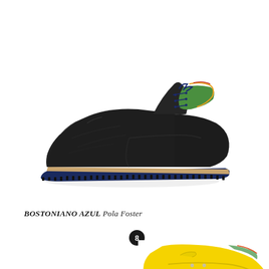[Figure (photo): A dark black leather oxford/derby shoe with blue laces, a tan midsole, and a dark navy blue rubber outsole, viewed from the side against a white background.]
BOSTONIANO AZUL Pola Foster
[Figure (photo): A circular black badge/icon with a white number 8 or stylized symbol inside it.]
[Figure (photo): Partial view of a yellow flat shoe with decorative details and a striped sole visible at the bottom-right corner of the page.]